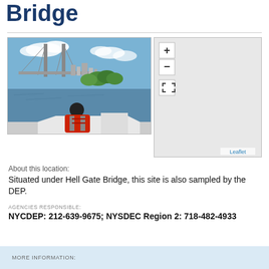Bridge
[Figure (photo): Photo taken from a boat showing a person wearing a red life jacket, with a large suspension bridge (Hell Gate Bridge area) and NYC skyline visible across the water, with green trees along the shoreline.]
[Figure (map): Interactive map placeholder with zoom in (+), zoom out (-), and fullscreen controls on a light gray background, with a Leaflet attribution link in the bottom right.]
About this location:
Situated under Hell Gate Bridge, this site is also sampled by the DEP.
AGENCIES RESPONSIBLE:
NYCDEP: 212-639-9675; NYSDEC Region 2: 718-482-4933
MORE INFORMATION: